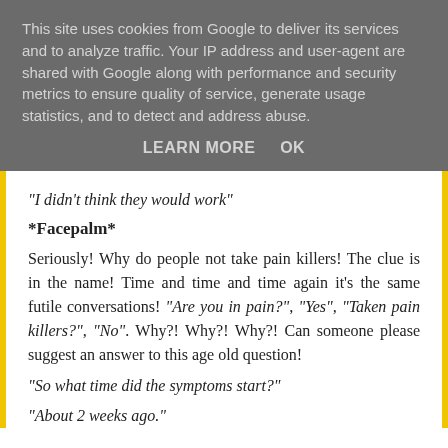This site uses cookies from Google to deliver its services and to analyze traffic. Your IP address and user-agent are shared with Google along with performance and security metrics to ensure quality of service, generate usage statistics, and to detect and address abuse.
LEARN MORE    OK
"I didn't think they would work"
*Facepalm*
Seriously! Why do people not take pain killers! The clue is in the name! Time and time and time again it's the same futile conversations! "Are you in pain?", "Yes", "Taken pain killers?", "No". Why?! Why?! Why?! Can someone please suggest an answer to this age old question!
"So what time did the symptoms start?"
"About 2 weeks ago."